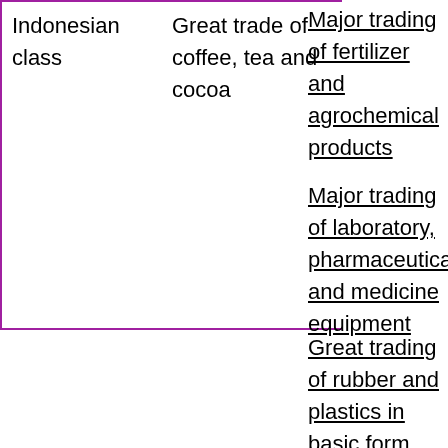| Indonesian class | Great trade of coffee, tea and cocoa |  |
Major trading of fertilizer and agrochemical products
Major trading of laboratory, pharmaceutical and medicine equipment
Great trading of rubber and plastics in basic form
Perdagangan besar bahan konstruksi lainnya
Major trade paint